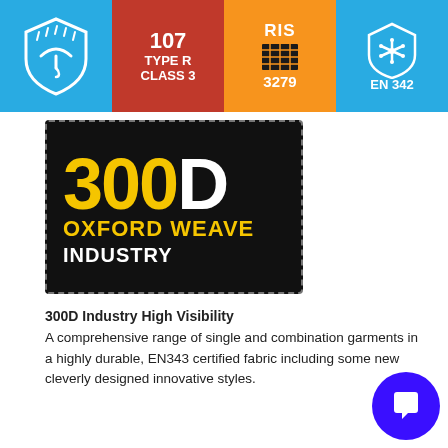[Figure (infographic): Four certification badges in a row: blue shield with umbrella/rain icon, red badge with '107 TYPE R CLASS 3', orange badge with RIS 3279 and grid icon, blue badge with snowflake shield icon and EN 342]
[Figure (logo): 300D Oxford Weave Industry logo on black background with dashed border. '300' in yellow, 'D' in white, large font. 'OXFORD WEAVE' in yellow below, 'INDUSTRY' in white below that.]
300D Industry High Visibility
A comprehensive range of single and combination garments in a highly durable, EN343 certified fabric including some new cleverly designed innovative styles.